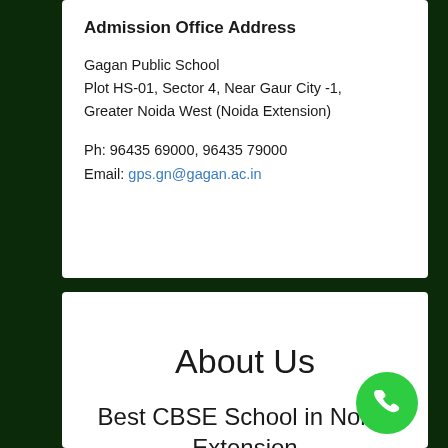Admission Office Address
Gagan Public School
Plot HS-01, Sector 4, Near Gaur City -1,
Greater Noida West (Noida Extension)
Ph: 96435 69000, 96435 79000
Email: gps.gn@gagan.ac.in
About Us
Best CBSE School in Noida Extension